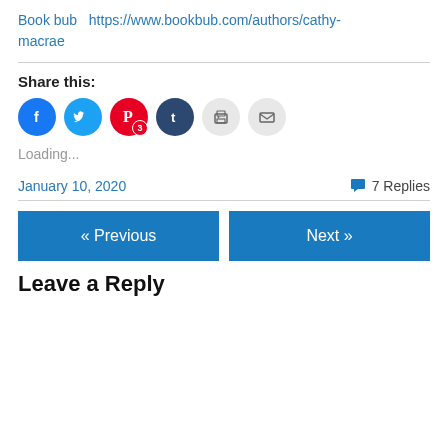Book bub  https://www.bookbub.com/authors/cathy-macrae
Share this:
[Figure (other): Social sharing icons: Facebook (blue circle), Twitter (light blue circle), Pinterest (red circle with badge '3'), Tumblr (dark navy circle), Print (light gray circle), Email (light gray circle)]
Loading...
January 10, 2020
7 Replies
« Previous
Next »
Leave a Reply